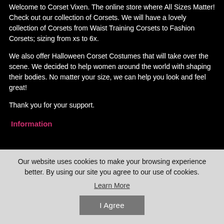Welcome to Corset Vixen. The online store where All Sizes Matter! Check out our collection of Corsets. We will have a lovely collection of Corsets from Waist Training Corsets to Fashion Corsets; sizing from xs to 6x.
We also offer Halloween Corset Costumes that will take over the scene. We decided to help women around the world with shaping their bodies. No matter your size, we can help you look and feel great!
Thank you for your support.
Information
Contact Us
Our website uses cookies to make your browsing experience better. By using our site you agree to our use of cookies.
Learn More
I Agree